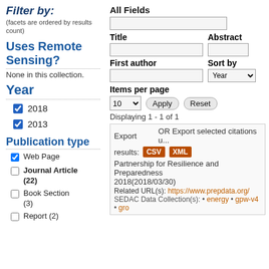Filter by:
(facets are ordered by results count)
Uses Remote Sensing?
None in this collection.
Year
2018 [checked]
2013 [checked]
Publication type
Web Page [checked]
Journal Article (22) [unchecked]
Book Section (3) [unchecked]
Report (2) [unchecked]
All Fields
Title
Abstract
First author
Sort by
Items per page
Displaying 1 - 1 of 1
Export   OR Export selected citations u... results: CSV XML
Partnership for Resilience and Preparedness 2018(2018/03/30)
Related URL(s): https://www.prepdata.org/
SEDAC Data Collection(s): • energy • gpw-v4 • gro